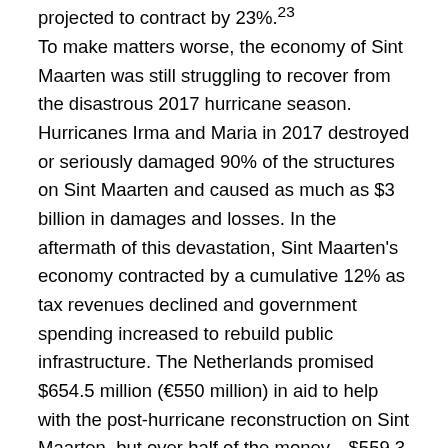projected to contract by 23%.23 To make matters worse, the economy of Sint Maarten was still struggling to recover from the disastrous 2017 hurricane season. Hurricanes Irma and Maria in 2017 destroyed or seriously damaged 90% of the structures on Sint Maarten and caused as much as $3 billion in damages and losses. In the aftermath of this devastation, Sint Maarten's economy contracted by a cumulative 12% as tax revenues declined and government spending increased to rebuild public infrastructure. The Netherlands promised $654.5 million (€550 million) in aid to help with the post-hurricane reconstruction on Sint Maarten, but over half of the money—$559.3 million (€470 million) of which is held in a public trust managed by the World Bank—remains unallocated and only $90.3 million (€75.9 million) has been disbursed. The need far outweighs the promised funds, however, with total recovery estimated to